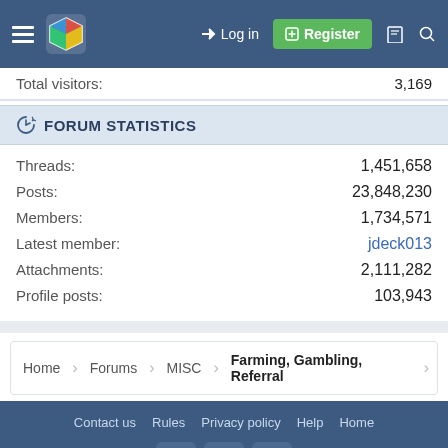Log in | Register
Total visitors: 3,169
FORUM STATISTICS
Threads: 1,451,658
Posts: 23,848,230
Members: 1,734,571
Latest member: jdeck013
Attachments: 2,111,282
Profile posts: 103,943
Home > Forums > MISC > Farming, Gambling, Referral
Contact us | Rules | Privacy policy | Help | Home